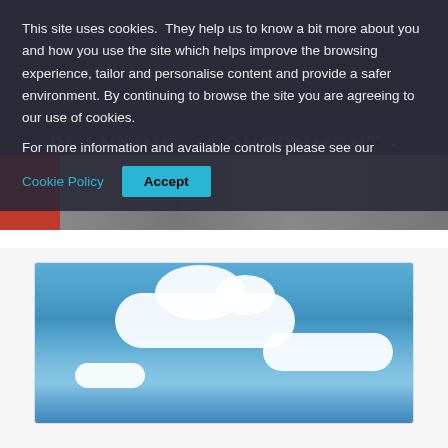[Figure (photo): Dark overlay background with faint watermark text and a street scene photo strip showing a red bus, pedestrians, and vehicles on a city street]
This site uses cookies.  They help us to know a bit more about you and how you use the site which helps improve the browsing experience, tailor and personalise content and provide a safer environment. By continuing to browse the site you are agreeing to our use of cookies. For more information and available controls please see our
Cookie Policy
Accept
[Figure (photo): Photo of blue sky with white cumulus clouds]